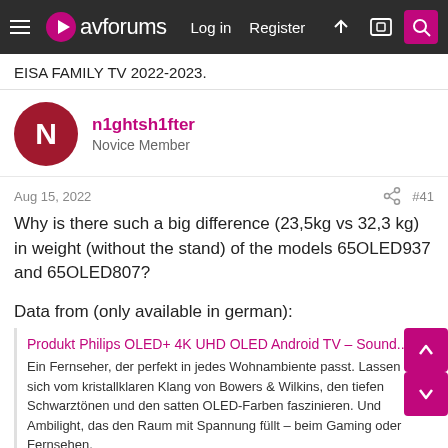avforums — Log in   Register
EISA FAMILY TV 2022-2023.
n1ghtsh1fter
Novice Member
Aug 15, 2022   #41
Why is there such a big difference (23,5kg vs 32,3 kg) in weight (without the stand) of the models 65OLED937 and 65OLED807?
Data from (only available in german):
Produkt Philips OLED+ 4K UHD OLED Android TV – Sound...
Ein Fernseher, der perfekt in jedes Wohnambiente passt. Lassen Sie sich vom kristallklaren Klang von Bowers & Wilkins, den tiefen Schwarztönen und den satten OLED-Farben faszinieren. Und Ambilight, das den Raum mit Spannung füllt – beim Gaming oder Fernsehen.
www.philips.ch